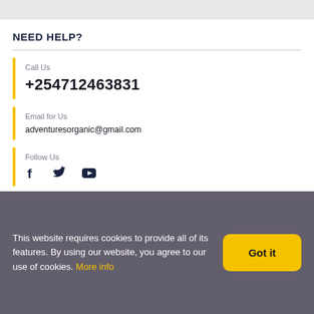NEED HELP?
Call Us
+254712463831
Email for Us
adventuresorganic@gmail.com
Follow Us
[Figure (illustration): Social media icons: Facebook, Twitter, YouTube]
This website requires cookies to provide all of its features. By using our website, you agree to our use of cookies. More info